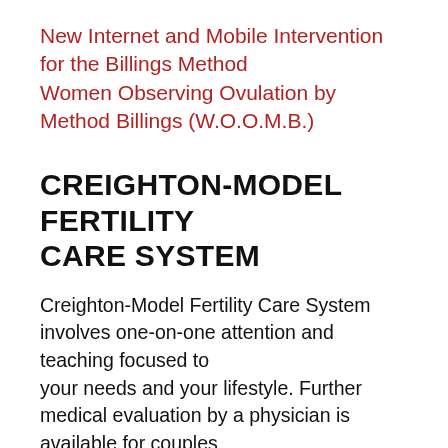New Internet and Mobile Intervention for the Billings Method Women Observing Ovulation by Method Billings (W.O.O.M.B.)
CREIGHTON-MODEL FERTILITY CARE SYSTEM
Creighton-Model Fertility Care System involves one-on-one attention and teaching focused to your needs and your lifestyle. Further medical evaluation by a physician is available for couples with difficulty conceiving or other reproductive problems. Local referrals are